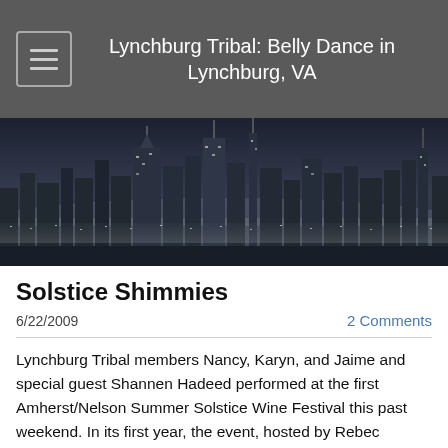Lynchburg Tribal: Belly Dance in Lynchburg, VA
[Figure (photo): Black and white nighttime cityscape panorama showing tall buildings and city lights on the horizon]
Solstice Shimmies
6/22/2009
2 Comments
Lynchburg Tribal members Nancy, Karyn, and Jaime and special guest Shannen Hadeed performed at the first Amherst/Nelson Summer Solstice Wine Festival this past weekend.  In its first year, the event, hosted by Rebec Vineyards, was a success!  The venue was perfect; providing lots of shade and covered space while maintaining an open, spacious feel.  The vineyards represented were stellar and Robin Rich's music was the lively, humorous, and accomplished performance